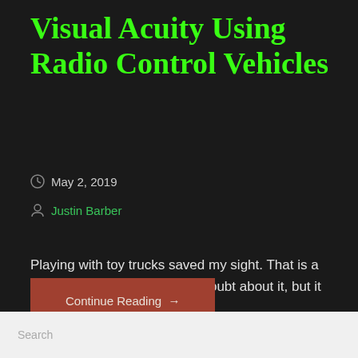Visual Acuity Using Radio Control Vehicles
May 2, 2019
Justin Barber
Playing with toy trucks saved my sight. That is a very dramatic statement, no doubt about it, but it is…
Continue Reading →
Search